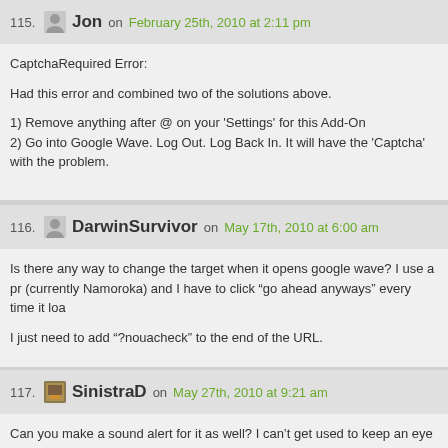115. Jon on February 25th, 2010 at 2:11 pm
CaptchaRequired Error:
Had this error and combined two of the solutions above.
1) Remove anything after @ on your 'Settings' for this Add-On
2) Go into Google Wave. Log Out. Log Back In. It will have the 'Captcha' with the problem.
116. DarwinSurvivor on May 17th, 2010 at 6:00 am
Is there any way to change the target when it opens google wave? I use a pr (currently Namoroka) and I have to click "go ahead anyways" every time it loa
I just need to add "?nouacheck" to the end of the URL.
117. SinistraD on May 27th, 2010 at 9:21 am
Can you make a sound alert for it as well? I can't get used to keep an eye o some annoying beep or melody would make me notice my new waves faster mails all the time (even if I'm in front of my PC).